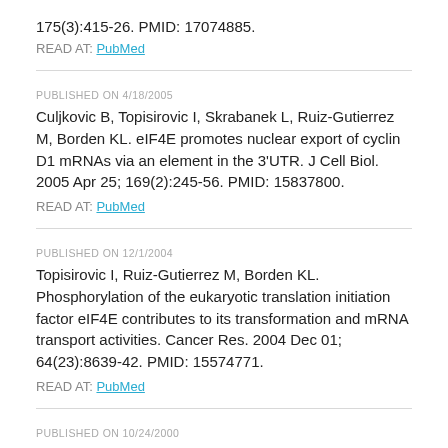175(3):415-26. PMID: 17074885.
READ AT: PubMed
PUBLISHED ON 4/18/2005
Culjkovic B, Topisirovic I, Skrabanek L, Ruiz-Gutierrez M, Borden KL. eIF4E promotes nuclear export of cyclin D1 mRNAs via an element in the 3'UTR. J Cell Biol. 2005 Apr 25; 169(2):245-56. PMID: 15837800.
READ AT: PubMed
PUBLISHED ON 12/1/2004
Topisirovic I, Ruiz-Gutierrez M, Borden KL. Phosphorylation of the eukaryotic translation initiation factor eIF4E contributes to its transformation and mRNA transport activities. Cancer Res. 2004 Dec 01; 64(23):8639-42. PMID: 15574771.
READ AT: PubMed
PUBLISHED ON 10/24/2000